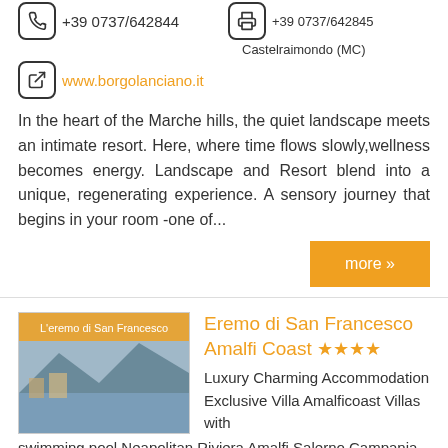+39 0737/642844
Castelraimondo (MC)
+39 0737/642845
www.borgolanciano.it
In the heart of the Marche hills, the quiet landscape meets an intimate resort. Here, where time flows slowly,wellness becomes energy. Landscape and Resort blend into a unique, regenerating experience. A sensory journey that begins in your room -one of...
more »
Eremo di San Francesco Amalfi Coast ★★★★
Luxury Charming Accommodation Exclusive Villa Amalficoast Villas with swimming pool Neapolitan Riviera Amalfi Salerno Campania Italy
Amalfi
Via Casa Nuova